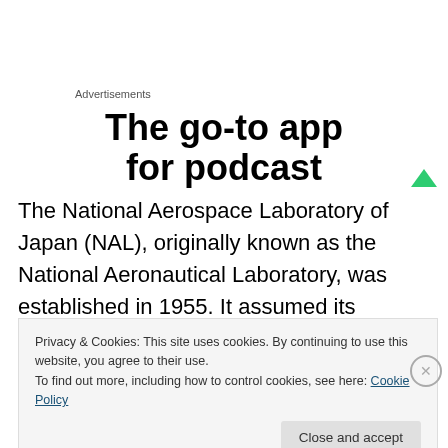Advertisements
The go-to app for podcast
The National Aerospace Laboratory of Japan (NAL), originally known as the National Aeronautical Laboratory, was established in 1955. It assumed its present name with the addition of the Aerospace Division in 1963. NAL has
Privacy & Cookies: This site uses cookies. By continuing to use this website, you agree to their use.
To find out more, including how to control cookies, see here: Cookie Policy
Close and accept